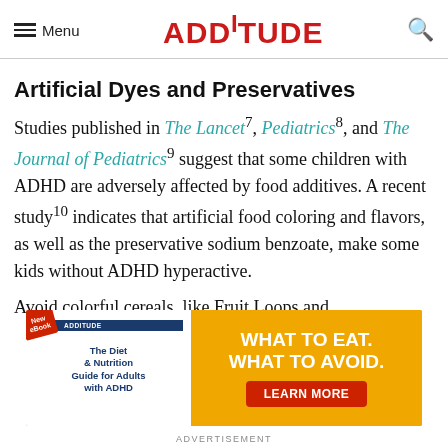Menu  ADDitude
Artificial Dyes and Preservatives
Studies published in The Lancet⁷, Pediatrics⁸, and The Journal of Pediatrics⁹ suggest that some children with ADHD are adversely affected by food additives. A recent study¹⁰ indicates that artificial food coloring and flavors, as well as the preservative sodium benzoate, make some kids without ADHD hyperactive.
Avoid colorful cereals, like Fruit Loops and
[Figure (other): Advertisement banner for ADDitude eBook 'The Diet & Nutrition Guide for Adults with ADHD' with text 'WHAT TO EAT. WHAT TO AVOID.' and a LEARN MORE button]
ADVERTISEMENT